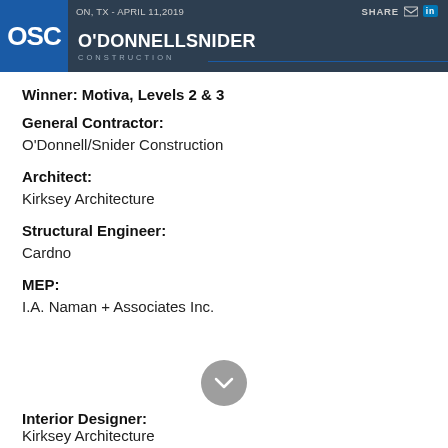ON, TX - APRIL 11,2019 | SHARE | O'DONNELL SNIDER CONSTRUCTION
Winner: Motiva, Levels 2 & 3
General Contractor:
O'Donnell/Snider Construction
Architect:
Kirksey Architecture
Structural Engineer:
Cardno
MEP:
I.A. Naman + Associates Inc.
Interior Designer:
Kirksey Architecture